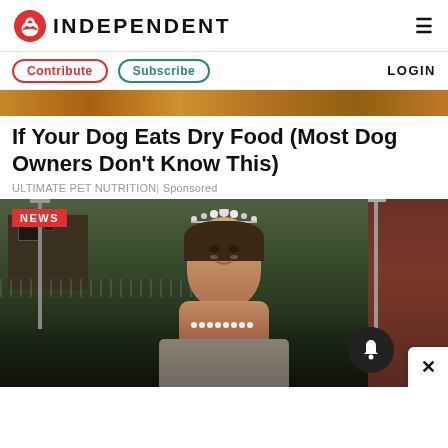INDEPENDENT
Contribute | Subscribe | LOGIN
[Figure (photo): Cropped banner image showing what appears to be an animal with fur, reddish-brown colors - top of an advertisement]
If Your Dog Eats Dry Food (Most Dog Owners Don't Know This)
ULTIMATE PET NUTRITION | Sponsored
[Figure (photo): News photo of a young woman wearing a tiara and pearl necklace, in formal/prom wear, standing outdoors near lamp posts and buildings. Red NEWS badge overlay in top left. Notification bell icon and close X button overlaid at bottom right.]